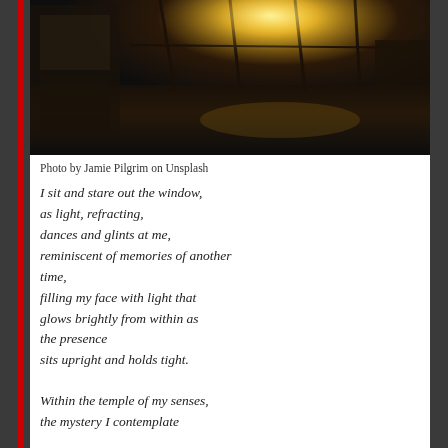[Figure (photo): Interior room with large windows, sunlight streaming through glass panes creating golden light and reflections on a dark floor, warm amber tones]
Photo by Jamie Pilgrim on Unsplash
I sit and stare out the window,
as light, refracting,
dances and glints at me,
reminiscent of memories of another time,
filling my face with light that glows brightly from within as the presence
sits upright and holds tight.
Within the temple of my senses,
the mystery I contemplate